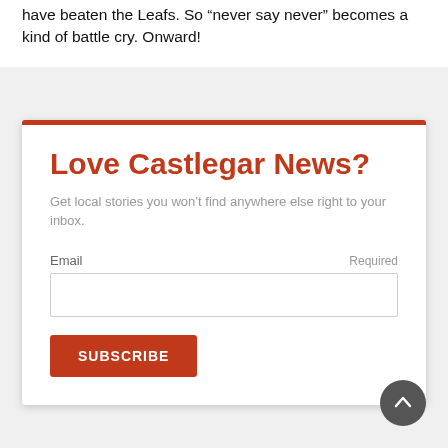have beaten the Leafs. So “never say never” becomes a kind of battle cry. Onward!
Love Castlegar News?
Get local stories you won’t find anywhere else right to your inbox.
Email  Required
[Figure (other): Email input field (empty text box)]
SUBSCRIBE